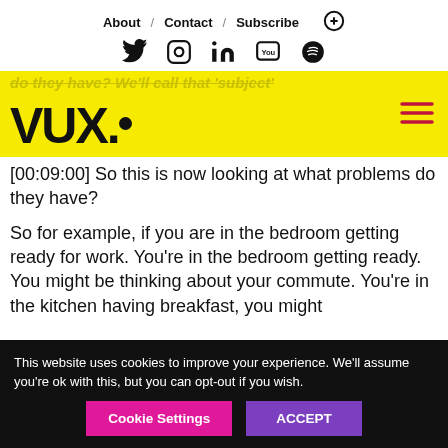About / Contact / Subscribe
Twitter Instagram LinkedIn YouTube Spotify (social icons)
[Figure (logo): VUX. logo on yellow background with navigation text overlay]
[00:09:00] So this is now looking at what problems do they have?
So for example, if you are in the bedroom getting ready for work. You're in the bedroom getting ready. You might be thinking about your commute. You're in the kitchen having breakfast, you might
This website uses cookies to improve your experience. We'll assume you're ok with this, but you can opt-out if you wish.
Cookie Settings   ACCEPT